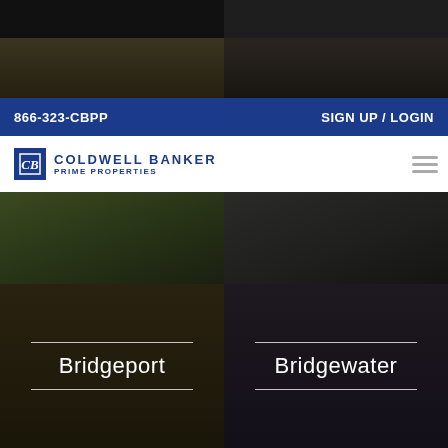[Figure (photo): Two dark interior/exterior property photos side by side at top]
[Figure (photo): Two dark interior property photos - wine cellar and wooden ceiling]
866-323-CBPP    SIGN UP / LOGIN
[Figure (logo): Coldwell Banker Prime Properties logo with hamburger menu icon]
[Figure (photo): Two property photos - driveway/lawn and kitchen interior]
[Figure (photo): Bridgeport location tile - dark interior photo with city name overlay]
[Figure (photo): Bridgewater location tile - dark interior photo with city name overlay]